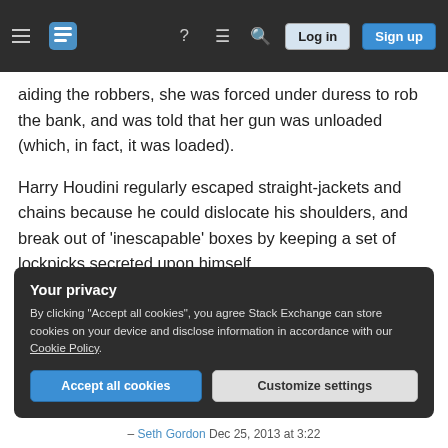Stack Exchange navigation bar with hamburger menu, logo, icons, Log in and Sign up buttons
aiding the robbers, she was forced under duress to rob the bank, and was told that her gun was unloaded (which, in fact, it was loaded).
Harry Houdini regularly escaped straight-jackets and chains because he could dislocate his shoulders, and break out of 'inescapable' boxes by keeping a set of lockpicks secreted upon himself.
The Great Escape is actually based off a real WWII prisoner-of-war camp escape.
Your privacy
By clicking "Accept all cookies", you agree Stack Exchange can store cookies on your device and disclose information in accordance with our Cookie Policy.
Accept all cookies   Customize settings
– Seth Gordon Dec 25, 2013 at 3:22